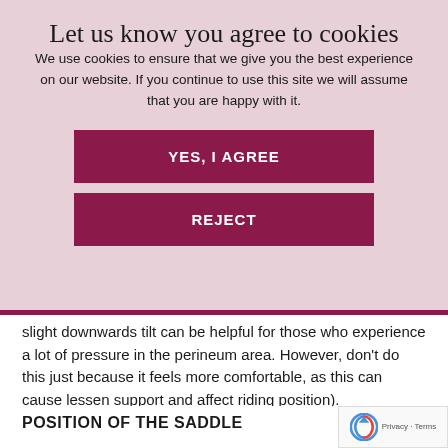Let us know you agree to cookies
We use cookies to ensure that we give you the best experience on our website. If you continue to use this site we will assume that you are happy with it.
YES, I AGREE
REJECT
slight downwards tilt can be helpful for those who experience a lot of pressure in the perineum area. However, don't do this just because it feels more comfortable, as this can cause lessen support and affect riding position).
POSITION OF THE SADDLE